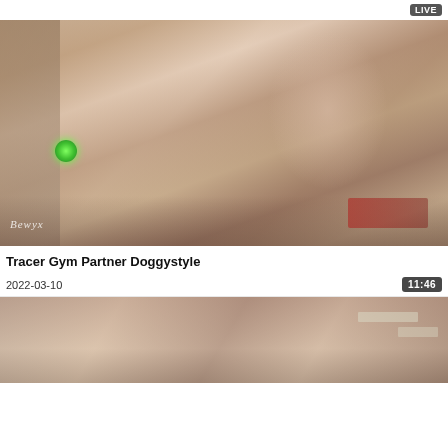LIVE
[Figure (screenshot): 3D animated video thumbnail showing a cartoon character in a gym setting, with watermark text 'Bewyx' in bottom left]
Tracer Gym Partner Doggystyle
2022-03-10
11:46
[Figure (screenshot): Second 3D animated video thumbnail, partial view showing a character in an indoor setting]